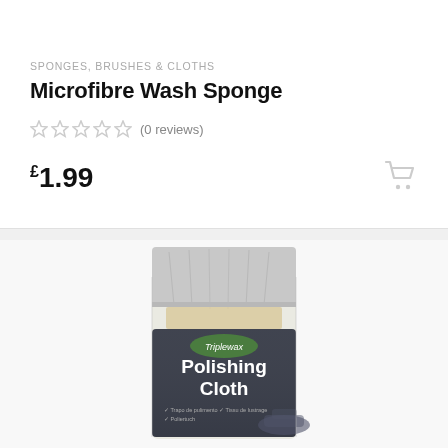SPONGES, BRUSHES & CLOTHS
Microfibre Wash Sponge
★★★★★ (0 reviews)
£1.99
[Figure (photo): Triplewax Polishing Cloth product in clear plastic packaging with silver foil top. The label is dark navy/charcoal with the Triplewax logo in a green oval and 'Polishing Cloth' in large white text, with small multilingual text and a car graphic at the bottom.]